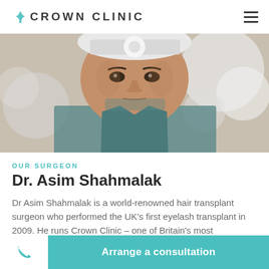CROWN CLINIC
[Figure (photo): Close-up photo of Dr. Asim Shahmalak, a male surgeon wearing a surgical cap/headlamp, with bright circular lights blurred in background]
OUR SURGEON
Dr. Asim Shahmalak
Dr Asim Shahmalak is a world-renowned hair transplant surgeon who performed the UK's first eyelash transplant in 2009. He runs Crown Clinic – one of Britain's most successful and best
Arrange a consultation